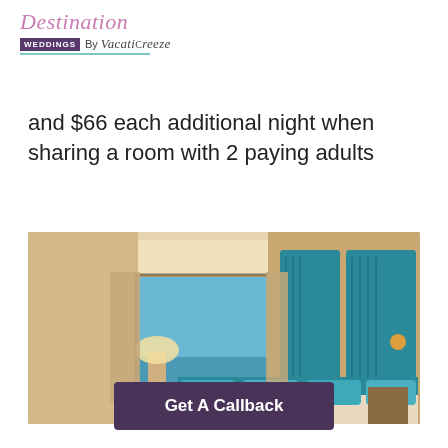[Figure (logo): Destination Weddings by VacatiBreeze logo with cursive text and teal underline]
and $66 each additional night when sharing a room with 2 paying adults
[Figure (photo): Luxury hotel room with teal headboard, ocean view through sliding glass doors, warm lighting]
Get A Callback